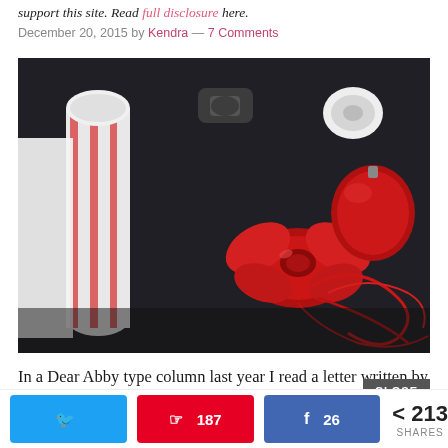support this site. Read full disclosure here.
December 20, 2015 by Kendra — 7 Comments
[Figure (photo): Close-up photo of Christmas gift wrapping supplies on a dark table: a roll of red and white Christmas tree patterned wrapping paper, shiny red ribbon bows and curled ribbon, scissors, and a tape dispenser.]
In a Dear Abby type column last year I read a letter written by a
CLOSE
187
26
213 SHARES